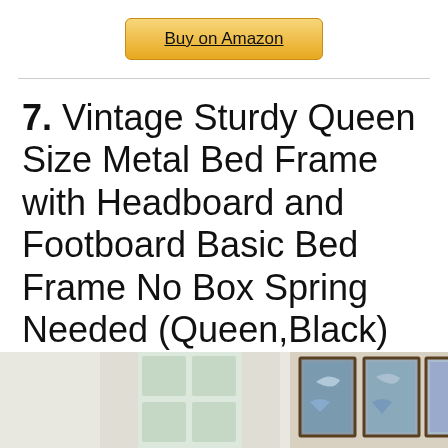[Figure (other): Amazon 'Buy on Amazon' golden button]
7. Vintage Sturdy Queen Size Metal Bed Frame with Headboard and Footboard Basic Bed Frame No Box Spring Needed (Queen,Black)
[Figure (photo): Partial photo of a bedroom showing a window with curtains and framed artwork on the wall]